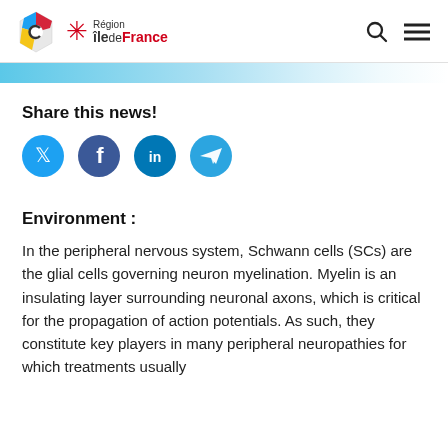Région île de France
Share this news!
[Figure (other): Social media share buttons: Twitter, Facebook, LinkedIn, Telegram]
Environment :
In the peripheral nervous system, Schwann cells (SCs) are the glial cells governing neuron myelination. Myelin is an insulating layer surrounding neuronal axons, which is critical for the propagation of action potentials. As such, they constitute key players in many peripheral neuropathies for which treatments usually